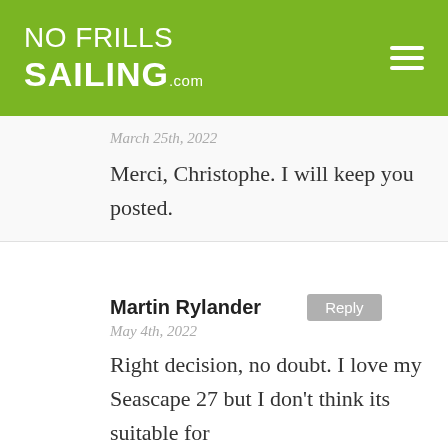NO FRILLS SAILING.com
March 25th, 2022
Merci, Christophe. I will keep you posted.
Martin Rylander
May 4th, 2022
Right decision, no doubt. I love my Seascape 27 but I don't think its suitable for